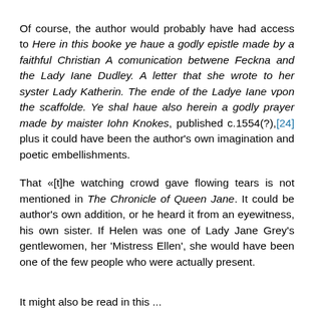Of course, the author would probably have had access to Here in this booke ye haue a godly epistle made by a faithful Christian A comunication betwene Feckna and the Lady Iane Dudley. A letter that she wrote to her syster Lady Katherin. The ende of the Ladye Iane vpon the scaffolde. Ye shal haue also herein a godly prayer made by maister Iohn Knokes, published c.1554(?),[24] plus it could have been the author's own imagination and poetic embellishments.
That «[t]he watching crowd gave flowing tears is not mentioned in The Chronicle of Queen Jane. It could be author's own addition, or he heard it from an eyewitness, his own sister. If Helen was one of Lady Jane Grey's gentlewomen, her 'Mistress Ellen', she would have been one of the few people who were actually present.
It might also read in this ...